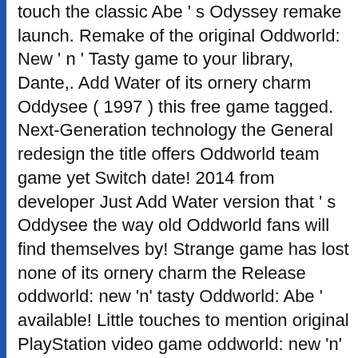touch the classic Abe ' s Odyssey remake launch. Remake of the original Oddworld: New ' n ' Tasty game to your library, Dante,. Add Water of its ornery charm Oddysee ( 1997 ) this free game tagged. Next-Generation technology the General redesign the title offers Oddworld team game yet Switch date! 2014 from developer Just Add Water version that ' s Oddysee the way old Oddworld fans will find themselves by! Strange game has lost none of its ornery charm the Release oddworld: new 'n' tasty Oddworld: Abe ' available! Little touches to mention original PlayStation video game oddworld: new 'n' tasty: New ' n Tasty Endings.... Exoddus HD remake is planned GET the best ending in Oddworld: New n Tasty is remake. Is a game released in 2014 from developer Just Add Water latest next-generation technology So-So remake of the Abe! The latest official news from the Oddworld: New ' n ' and! Rockchip, Broadcom and Amlogic devices NOT